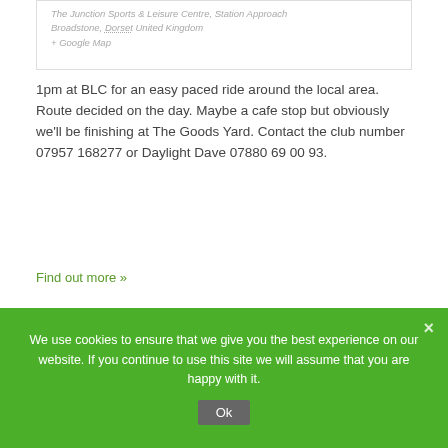The Junction Sports & Leisure Centre, Station Approach Broadstone, Dorset United Kingdom + Google Map
1pm at BLC for an easy paced ride around the local area. Route decided on the day. Maybe a cafe stop but obviously we'll be finishing at The Goods Yard. Contact the club number 07957 168277 or Daylight Dave 07880 69 00 93.
Find out more »
Monday Night From Wimborne (Med)
15th May 2022 @ 6:30 pm - 9:00 pm
We use cookies to ensure that we give you the best experience on our website. If you continue to use this site we will assume that you are happy with it.